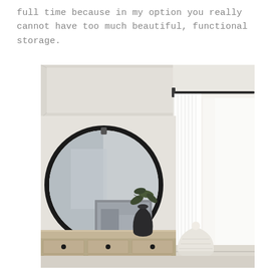full time because in my option you really cannot have too much beautiful, functional storage.
[Figure (photo): Interior bedroom photo showing a light wood dresser with black round drawer pulls, a large round black-framed mirror leaning against the wall, a dark ceramic vase with magnolia leaves, a framed artwork, a woven white basket on the floor, white sheer curtains on a black rod, and a coffered ceiling in a neutral beige/white room.]